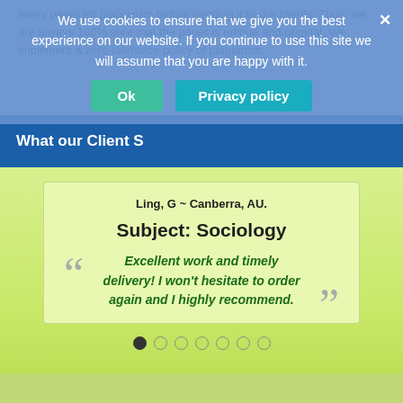every paper for plagiarism before sending it to our clients. Thus, we are always 100% sure that the paper is unique and original. We implement a zero-tolerance policy of plagiarism.
We use cookies to ensure that we give you the best experience on our website. If you continue to use this site we will assume that you are happy with it.
Ok
Privacy policy
What our Client S...
Ling, G ~ Canberra, AU.
Subject: Sociology
Excellent work and timely delivery! I won't hesitate to order again and I highly recommend.